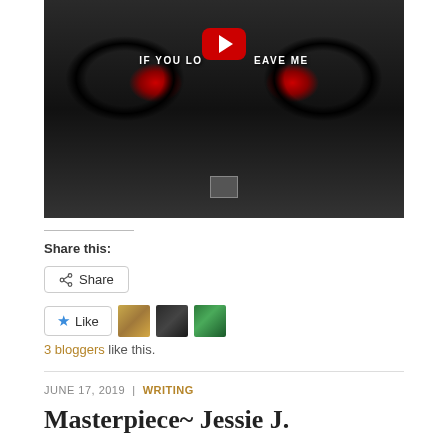[Figure (screenshot): YouTube video thumbnail showing a close-up of wolf eyes with red irises on a dark background. Text reads 'IF YOU LO[VE ME DON'T L]EAVE ME'. A red YouTube play button is visible in the center, and a small image thumbnail is at the bottom center.]
Share this:
Share
Like
3 bloggers like this.
JUNE 17, 2019  |  WRITING
Masterpiece~ Jessie J.